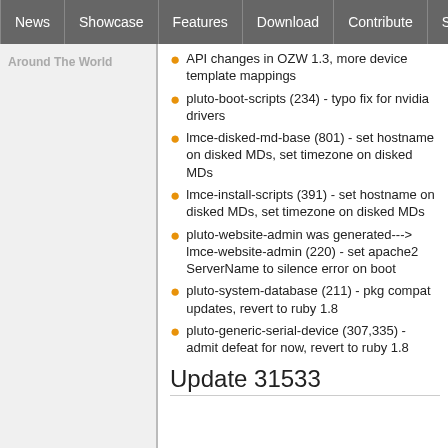News | Showcase | Features | Download | Contribute | Support
Around The World
API changes in OZW 1.3, more device template mappings
pluto-boot-scripts (234) - typo fix for nvidia drivers
lmce-disked-md-base (801) - set hostname on disked MDs, set timezone on disked MDs
lmce-install-scripts (391) - set hostname on disked MDs, set timezone on disked MDs
pluto-website-admin was generated---> lmce-website-admin (220) - set apache2 ServerName to silence error on boot
pluto-system-database (211) - pkg compat updates, revert to ruby 1.8
pluto-generic-serial-device (307,335) - admit defeat for now, revert to ruby 1.8
Update 31533